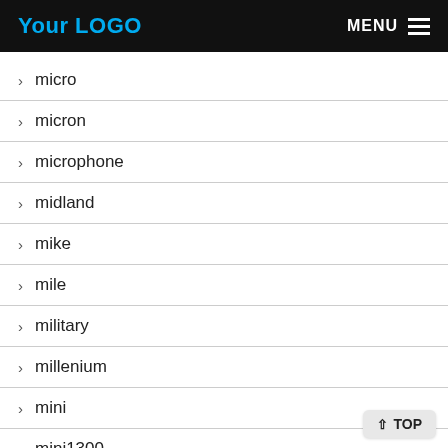Your LOGO   MENU
> micro
> micron
> microphone
> midland
> mike
> mile
> military
> millenium
> mini
> mini1300
> miniwhip